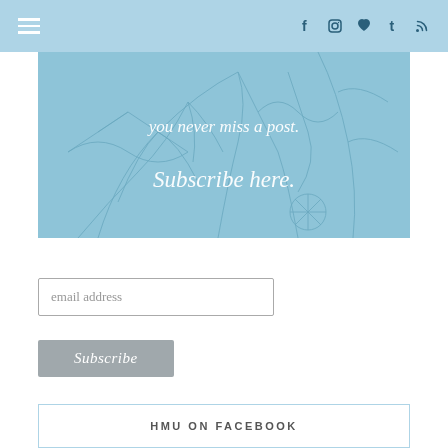Navigation bar with hamburger menu and social icons (Facebook, Instagram, heart/Bloglovin, Tumblr, RSS)
[Figure (illustration): Light blue botanical illustration background with white italic text: 'you never miss a post.' and 'Subscribe here.']
email address
Subscribe
HMU ON FACEBOOK